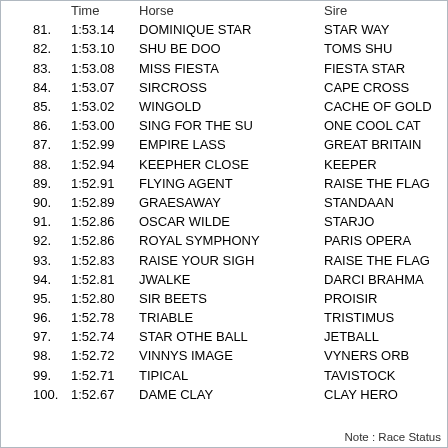|  | Time | Horse | Sire |
| --- | --- | --- | --- |
| 81. | 1:53.14 | DOMINIQUE STAR | STAR WAY |
| 82. | 1:53.10 | SHU BE DOO | TOMS SHU |
| 83. | 1:53.08 | MISS FIESTA | FIESTA STAR |
| 84. | 1:53.07 | SIRCROSS | CAPE CROSS |
| 85. | 1:53.02 | WINGOLD | CACHE OF GOLD |
| 86. | 1:53.00 | SING FOR THE SU | ONE COOL CAT |
| 87. | 1:52.99 | EMPIRE LASS | GREAT BRITAIN |
| 88. | 1:52.94 | KEEPHER CLOSE | KEEPER |
| 89. | 1:52.91 | FLYING AGENT | RAISE THE FLAG |
| 90. | 1:52.89 | GRAESAWAY | STANDAAN |
| 91. | 1:52.86 | OSCAR WILDE | STARJO |
| 92. | 1:52.86 | ROYAL SYMPHONY | PARIS OPERA |
| 93. | 1:52.83 | RAISE YOUR SIGH | RAISE THE FLAG |
| 94. | 1:52.81 | JWALKE | DARCI BRAHMA |
| 95. | 1:52.80 | SIR BEETS | PROISIR |
| 96. | 1:52.78 | TRIABLE | TRISTIMUS |
| 97. | 1:52.74 | STAR OTHE BALL | JETBALL |
| 98. | 1:52.72 | VINNYS IMAGE | VYNERS ORB |
| 99. | 1:52.71 | TIPICAL | TAVISTOCK |
| 100. | 1:52.67 | DAME CLAY | CLAY HERO |
Note : Race Status